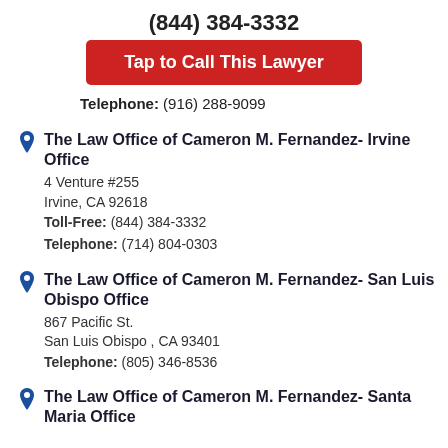(844) 384-3332
Tap to Call This Lawyer
Telephone: (916) 288-9099
The Law Office of Cameron M. Fernandez- Irvine Office
4 Venture #255
Irvine, CA 92618
Toll-Free: (844) 384-3332
Telephone: (714) 804-0303
The Law Office of Cameron M. Fernandez- San Luis Obispo Office
867 Pacific St.
San Luis Obispo , CA 93401
Telephone: (805) 346-8536
The Law Office of Cameron M. Fernandez- Santa Maria Office